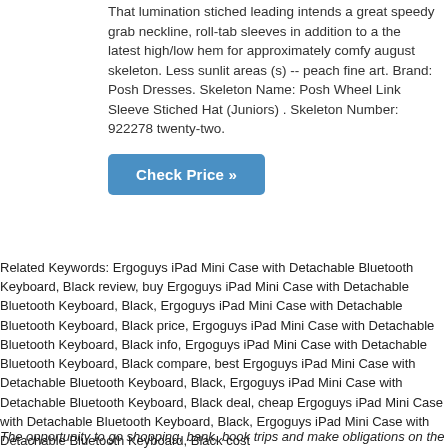That lumination stiched leading intends a great speedy grab neckline, roll-tab sleeves in addition to a the latest high/low hem for approximately comfy august skeleton. Less sunlit areas (s) -- peach fine art. Brand: Posh Dresses. Skeleton Name: Posh Wheel Link Sleeve Stiched Hat (Juniors) . Skeleton Number: 922278 twenty-two.
Check Price »
Related Keywords: Ergoguys iPad Mini Case with Detachable Bluetooth Keyboard, Black review, buy Ergoguys iPad Mini Case with Detachable Bluetooth Keyboard, Black, Ergoguys iPad Mini Case with Detachable Bluetooth Keyboard, Black price, Ergoguys iPad Mini Case with Detachable Bluetooth Keyboard, Black info, Ergoguys iPad Mini Case with Detachable Bluetooth Keyboard, Black compare, best Ergoguys iPad Mini Case with Detachable Bluetooth Keyboard, Black, Ergoguys iPad Mini Case with Detachable Bluetooth Keyboard, Black deal, cheap Ergoguys iPad Mini Case with Detachable Bluetooth Keyboard, Black, Ergoguys iPad Mini Case with Detachable Bluetooth Keyboard, Black cost
The opportunity to go shopping, bank, book trips and make obligations on the web